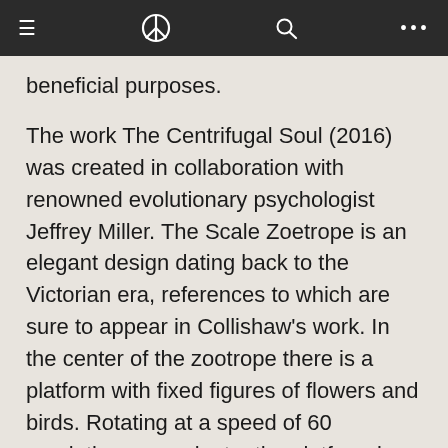Navigation bar with hamburger menu, peace symbol logo, search icon, and more options
beneficial purposes.
The work The Centrifugal Soul (2016) was created in collaboration with renowned evolutionary psychologist Jeffrey Miller. The Scale Zoetrope is an elegant design dating back to the Victorian era, references to which are sure to appear in Collishaw's work. In the center of the zootrope there is a platform with fixed figures of flowers and birds. Rotating at a speed of 60 revolutions per minute, the platform is illuminated every second by flashes of stroboscopic light, which creates the illusion of movement: the birds soar above the opening buds and